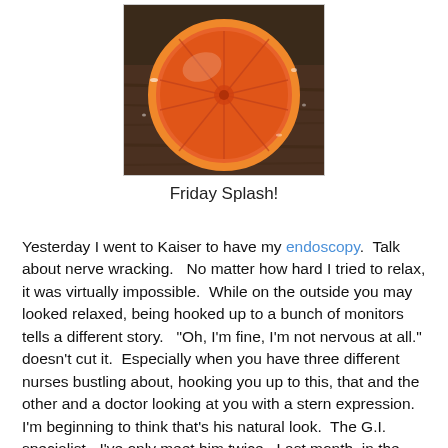[Figure (photo): A halved grapefruit/orange showing the interior flesh and segments, placed on a wooden surface with water splash around it]
Friday Splash!
Yesterday I went to Kaiser to have my endoscopy.  Talk about nerve wracking.   No matter how hard I tried to relax, it was virtually impossible.  While on the outside you may looked relaxed, being hooked up to a bunch of monitors tells a different story.   "Oh, I'm fine, I'm not nervous at all." doesn't cut it.  Especially when you have three different nurses bustling about, hooking you up to this, that and the other and a doctor looking at you with a stern expression.  I'm beginning to think that's his natural look.  The G.I. specialist - I've only meet him twice.  Last month, in the emergency room when I got the steak stuck in my throat and yesterday when he did the endoscopy.  His question - "are